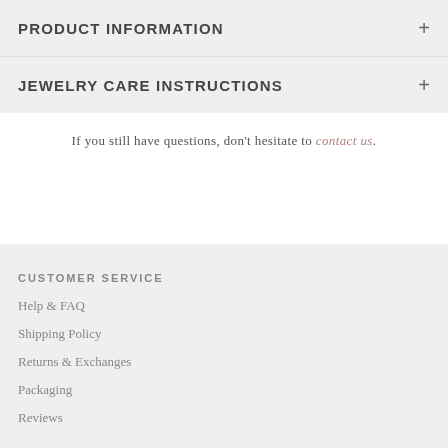PRODUCT INFORMATION
JEWELRY CARE INSTRUCTIONS
If you still have questions, don't hesitate to contact us.
CUSTOMER SERVICE
Help & FAQ
Shipping Policy
Returns & Exchanges
Packaging
Reviews